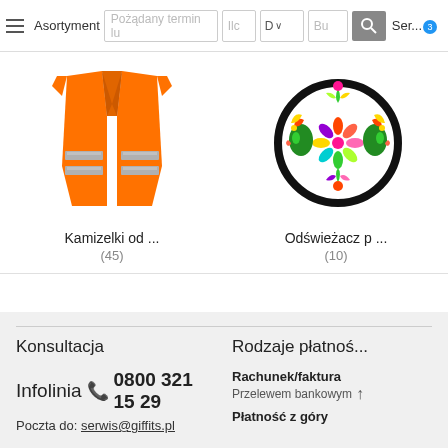≡ Asortyment | termin lu | Ilc | D | Buc | [search] | Ser...
[Figure (photo): Orange safety vest with reflective silver stripes]
Kamizelki od ...
(45)
[Figure (photo): Round Polish folk art wycinanка ornament with colorful roosters and flowers on white background]
Odświeżacz p ...
(10)
Konsultacja
Infolinia 📞 0800 321 15 29
Poczta do: serwis@giffits.pl
Rodzaje płatnoś...
Rachunek/faktura
Przelewem bankowym
Płatność z góry